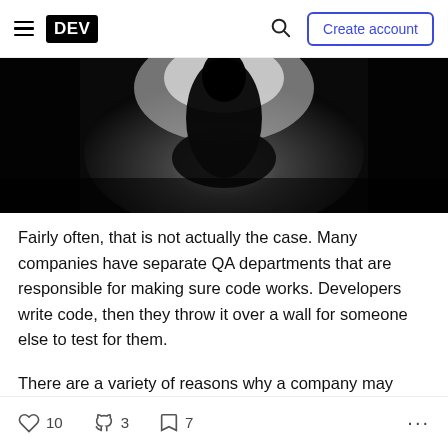DEV | Create account
[Figure (photo): Dark silhouette of a person backlit by a bright white/grey light against a black background]
Fairly often, that is not actually the case. Many companies have separate QA departments that are responsible for making sure code works. Developers write code, then they throw it over a wall for someone else to test for them.
There are a variety of reasons why a company may
10 reactions  3 unicorns  7 bookmarks  ...